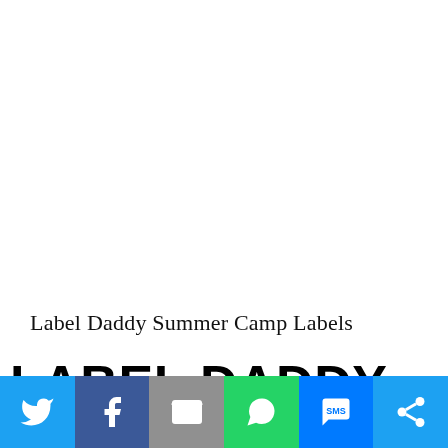Label Daddy Summer Camp Labels
LABEL DADDY SUMMER
[Figure (infographic): Social sharing bar with icons for Twitter, Facebook, Email, WhatsApp, SMS, and More]